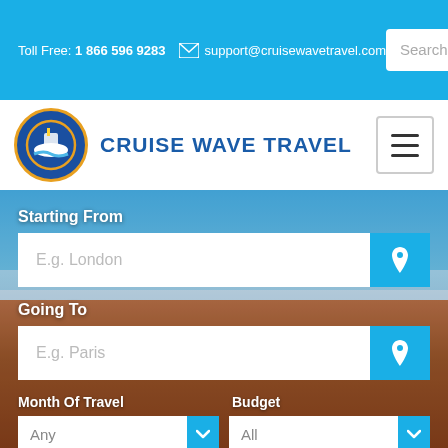Toll Free: 1 866 596 9283  support@cruisewavetravel.com
[Figure (logo): Cruise Wave Travel logo: circular blue and gold emblem with cruise ship graphic, next to bold blue text CRUISE WAVE TRAVEL]
Starting From
E.g. London
Going To
E.g. Paris
Month Of Travel
Budget
Any
All